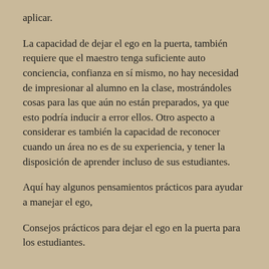aplicar.
La capacidad de dejar el ego en la puerta, también requiere que el maestro tenga suficiente auto conciencia, confianza en sí mismo, no hay necesidad de impresionar al alumno en la clase, mostrándoles cosas para las que aún no están preparados, ya que esto podría inducir a error ellos. Otro aspecto a considerar es también la capacidad de reconocer cuando un área no es de su experiencia, y tener la disposición de aprender incluso de sus estudiantes.
Aquí hay algunos pensamientos prácticos para ayudar a manejar el ego,
Consejos prácticos para dejar el ego en la puerta para los estudiantes.